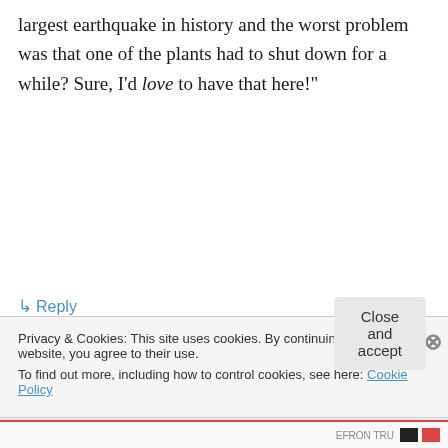largest earthquake in history and the worst problem was that one of the plants had to shut down for a while? Sure, I’d love to have that here!"
↳ Reply
wormme on March 12, 2011 at 8:14 pm
Yeah, assuming it plays out with the core materials not escaping, this should be a
Privacy & Cookies: This site uses cookies. By continuing to use this website, you agree to their use.
To find out more, including how to control cookies, see here: Cookie Policy
Close and accept